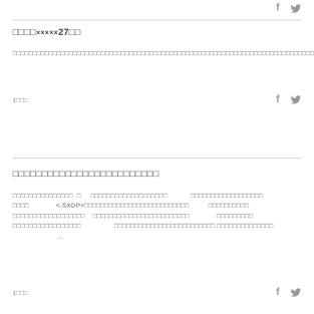□□□□×××× 27□□
□□□□□□□□□□□□□□□□□□□□□□□□□□□□□□□□□□□□□□□□□□□□□□□□□□□□□□□□□□□□□□□□□□□□□□□□□□□□□□□□□□□□□□□□□□□□□□□□□□□□□□□□□□□□□□□□□□□□□□□□□□□□□□□□□□□□□□□□□□□□□□□□□□□□□□□□□
1□□□
□□□□□□□□□□□□□□□□□□□□□□□□□
□□□□□□□□□□□□□□□ □ □□□□□□□□□□□□□□□□□□□ □□□□□□□□□□□□□□□□□□ □□□□ <.SXOP>□□□□□□□□□□□□□□□□□□□□□□□□□□ □□□□□□□□□□ □□□□□□□□□□□□□□□□□□ □□□□□□□□□□□□□□□□□□□□□□□□ □□□□□□□□□ □□□□□□□□□□□□□□□□□□□ □□□□□□□□□□□□□□□□□□□□□□□□□ □□□□□□□□□□□□□□□□□□□□□□□□□□□□□□□□□□□ ...
1□□□